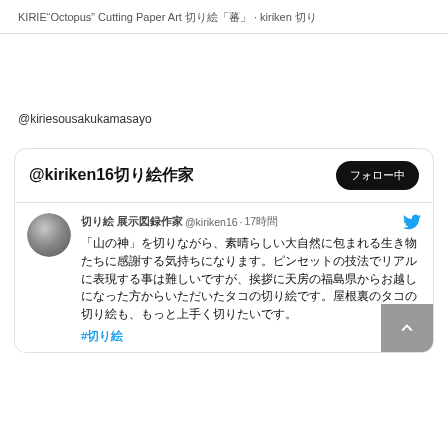KIRIE"Octopus" Cutting Paper Art 切り絵「蛸」 · kiriken 切り
@kiriesousakukamasayo
[Figure (screenshot): Twitter/X profile card for @kiriken16 with follow button and a tweet containing Japanese text and a hashtag]
#切り絵